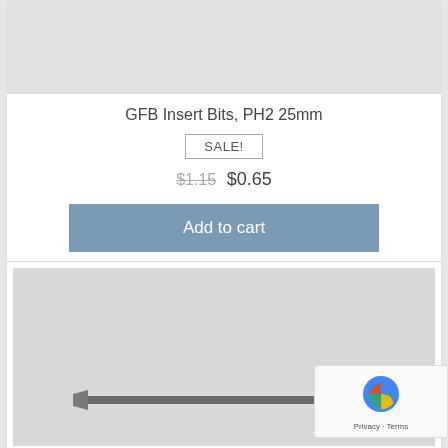[Figure (photo): Gray background product image placeholder for GFB Insert Bits PH2 25mm]
GFB Insert Bits, PH2 25mm
SALE!
$1.15  $0.65
Add to cart
[Figure (photo): Photo of a screwdriver insert bit (Phillips PH2) on a light gray background, showing the metal bit with hex shank]